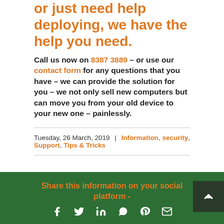or just need help deploying, we have the help you need.
Call us now on 8387 3889 – or use our contact form for any questions that you have – we can provide the solution for you – we not only sell new computers but can move you from your old device to your new one – painlessly.
Tuesday, 26 March, 2019  |  Information, security, Support, Tips & Tricks
Share this information on your social platform -